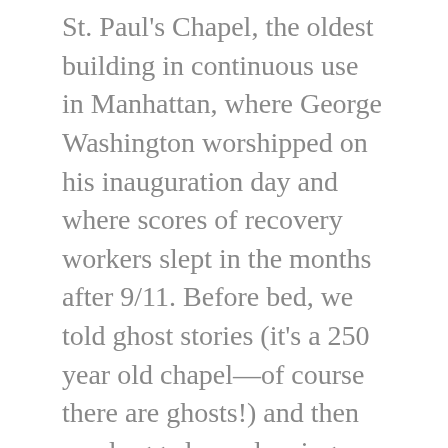St. Paul's Chapel, the oldest building in continuous use in Manhattan, where George Washington worshipped on his inauguration day and where scores of recovery workers slept in the months after 9/11. Before bed, we told ghost stories (it's a 250 year old chapel—of course there are ghosts!) and then we dragged our sleeping bags up around the high altar for the best ghost stories from the Hebrew scriptures: Saul and the Witch of Endor and Ezekiel in the Valley of Dry Bones during Compline by candlelight. Holy ground made for a surprisingly good night's sleep.
In the Gospel reading, Jesus speaks of God as our Father in heaven, and also very clearly says that we do not need to go to the synagogue to pray. Instead,